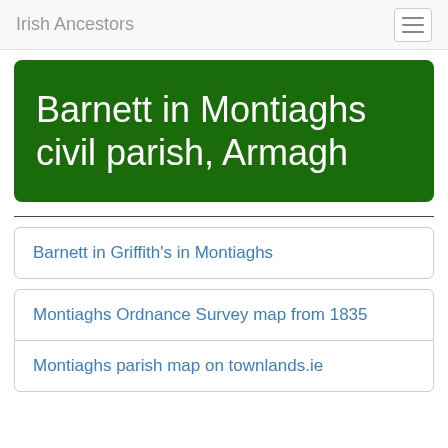Irish Ancestors
Barnett in Montiaghs civil parish, Armagh
Barnett in Griffith's in Montiaghs
Montiaghs Ordnance Survey map from 1835
Montiaghs parish map on townlands.ie